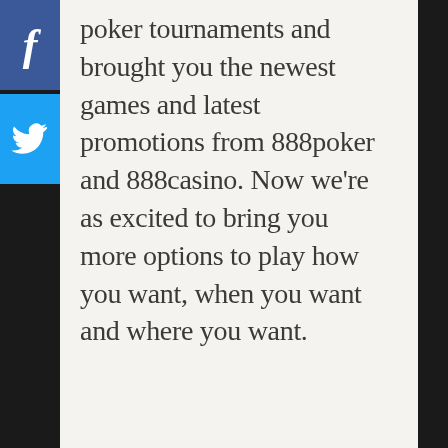[Figure (screenshot): Facebook share button (blue square with white 'f' icon)]
[Figure (screenshot): Twitter share button (light blue square with white bird icon)]
poker tournaments and brought you the newest games and latest promotions from 888poker and 888casino. Now we're as excited to bring you more options to play how you want, when you want and where you want.
[Figure (screenshot): Browser notification overlay showing Alerts panel with 2 alerts, warning and stop buttons, 'Must login to vote' toast, text about welcome deposit and register at.]